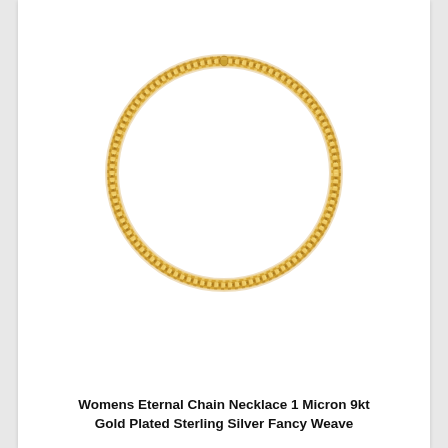[Figure (photo): A gold chain necklace arranged in a circular shape on a white background. The necklace appears to be a textured twisted rope-style chain in yellow gold color, with a small clasp visible at the top.]
Womens Eternal Chain Necklace 1 Micron 9kt Gold Plated Sterling Silver Fancy Weave